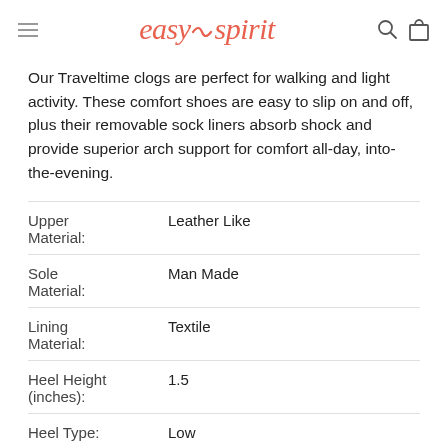easy spirit
Our Traveltime clogs are perfect for walking and light activity. These comfort shoes are easy to slip on and off, plus their removable sock liners absorb shock and provide superior arch support for comfort all-day, into-the-evening.
| Attribute | Value |
| --- | --- |
| Upper Material: | Leather Like |
| Sole Material: | Man Made |
| Lining Material: | Textile |
| Heel Height (inches): | 1.5 |
| Heel Type: | Low |